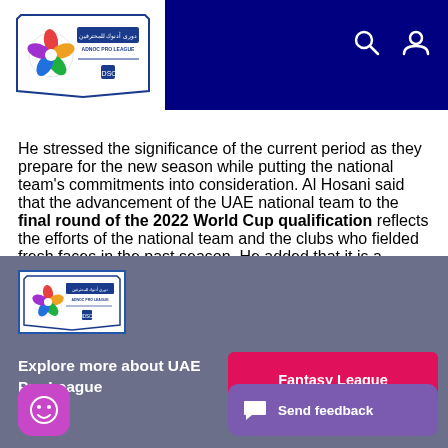ADNOC PRO LEAGUE header with logo, search icon, and user icon
He stressed the significance of the current period as they prepare for the new season while putting the national team's commitments into consideration. Al Hosani said that the advancement of the UAE national team to the final round of the 2022 World Cup qualification reflects the efforts of the national team and the clubs who fielded fresh faces in the past season. He added that it is a product of the efforts of a professional system that aims to achieve more successes for Emirati football.
[Figure (logo): ADNOC Pro League logo in footer]
Explore more about UAE Pro League
Fantasy League
[Figure (other): Smiley face emoji button]
Send feedback